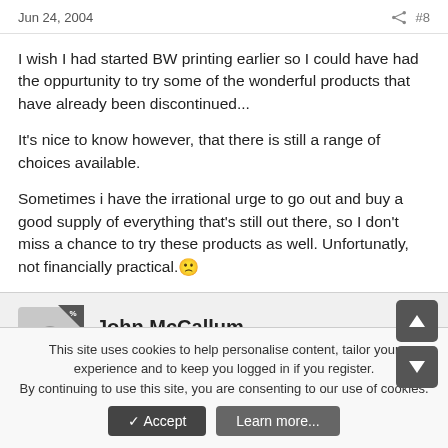Jun 24, 2004   #8
I wish I had started BW printing earlier so I could have had the oppurtunity to try some of the wonderful products that have already been discontinued...
It's nice to know however, that there is still a range of choices available.
Sometimes i have the irrational urge to go out and buy a good supply of everything that's still out there, so I don't miss a chance to try these products as well. Unfortunatly, not financially practical. :(
John McCallum
Member
This site uses cookies to help personalise content, tailor your experience and to keep you logged in if you register.
By continuing to use this site, you are consenting to our use of cookies.